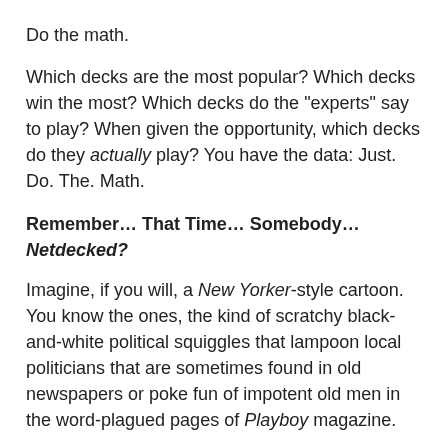Do the math.
Which decks are the most popular? Which decks win the most? Which decks do the "experts" say to play? When given the opportunity, which decks do they actually play? You have the data: Just. Do. The. Math.
Remember… That Time… Somebody… Netdecked?
Imagine, if you will, a New Yorker-style cartoon. You know the ones, the kind of scratchy black-and-white political squiggles that lampoon local politicians that are sometimes found in old newspapers or poke fun of impotent old men in the word-plagued pages of Playboy magazine.
Imagine this scene: A darkened subway tunnel. A little boy playing robots on the tracks. Twin lights casting the single-framed image in high contrast. The caption "… But Mommy, I like playing on the tracks!"